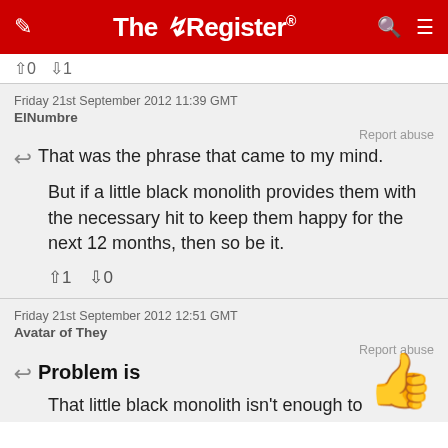The Register
↑0 ↓1
Friday 21st September 2012 11:39 GMT
ElNumbre
Report abuse
That was the phrase that came to my mind.
But if a little black monolith provides them with the necessary hit to keep them happy for the next 12 months, then so be it.
↑1 ↓0
Friday 21st September 2012 12:51 GMT
Avatar of They
Report abuse
Problem is
[Figure (illustration): Thumbs up emoji]
That little black monolith isn't enough to